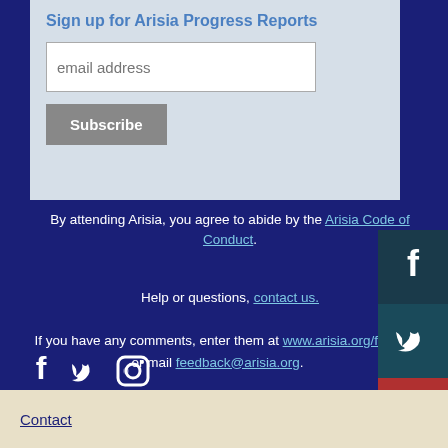Sign up for Arisia Progress Reports
[Figure (other): Email signup form with text input labeled 'email address' and a Subscribe button]
By attending Arisia, you agree to abide by the Arisia Code of Conduct.
Help or questions, contact us.
If you have any comments, enter them at www.arisia.org/feed or mail feedback@arisia.org.
[Figure (other): Social media icons: Facebook, Twitter, Instagram]
[Figure (other): Social media sidebar panel with Facebook, Twitter, Instagram icons]
Contact